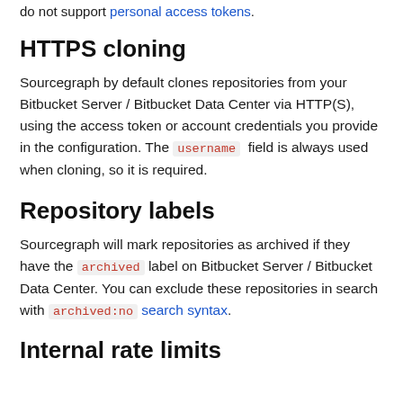do not support personal access tokens.
HTTPS cloning
Sourcegraph by default clones repositories from your Bitbucket Server / Bitbucket Data Center via HTTP(S), using the access token or account credentials you provide in the configuration. The username field is always used when cloning, so it is required.
Repository labels
Sourcegraph will mark repositories as archived if they have the archived label on Bitbucket Server / Bitbucket Data Center. You can exclude these repositories in search with archived:no search syntax.
Internal rate limits